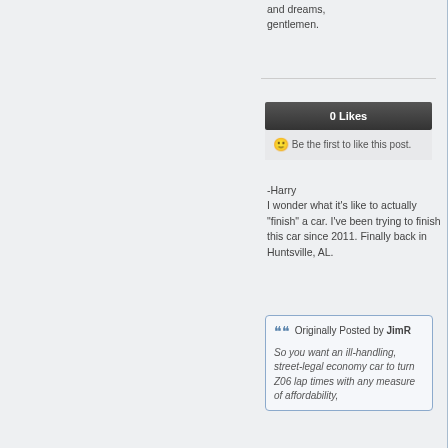and dreams, gentlemen.
0 Likes
😊 Be the first to like this post.
-Harry
I wonder what it's like to actually "finish" a car. I've been trying to finish this car since 2011. Finally back in Huntsville, AL.
❝ Originally Posted by JimR
So you want an ill-handling, street-legal economy car to turn Z06 lap times with any measure of affordability,